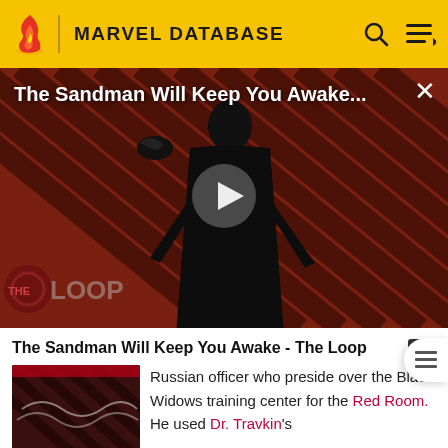MARVEL DATABASE
[Figure (screenshot): Video thumbnail showing 'The Sandman Will Keep You Awake...' title overlay on a dark diagonal striped background with a figure in black costume holding a raven. A play button triangle is centered. The Loop logo is at bottom left. An X close button is at top right.]
The Sandman Will Keep You Awake - The Loop
Russian officer who preside over the Black Widows training center for the Red Room. He used Dr. Travkin's